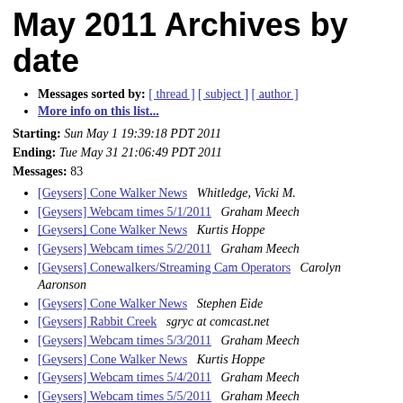May 2011 Archives by date
Messages sorted by: [ thread ] [ subject ] [ author ]
More info on this list...
Starting: Sun May 1 19:39:18 PDT 2011
Ending: Tue May 31 21:06:49 PDT 2011
Messages: 83
[Geysers] Cone Walker News   Whitledge, Vicki M.
[Geysers] Webcam times 5/1/2011   Graham Meech
[Geysers] Cone Walker News   Kurtis Hoppe
[Geysers] Webcam times 5/2/2011   Graham Meech
[Geysers] Conewalkers/Streaming Cam Operators   Carolyn Aaronson
[Geysers] Cone Walker News   Stephen Eide
[Geysers] Rabbit Creek   sgryc at comcast.net
[Geysers] Webcam times 5/3/2011   Graham Meech
[Geysers] Cone Walker News   Kurtis Hoppe
[Geysers] Webcam times 5/4/2011   Graham Meech
[Geysers] Webcam times 5/5/2011   Graham Meech
[Geysers] Webcam times 5/6/2011   Graham Meech
[Geysers] Blogging Yellowstone   jrcoast at seanet.com
[Geysers] Webcam times 5/7/2011   Graham Meech